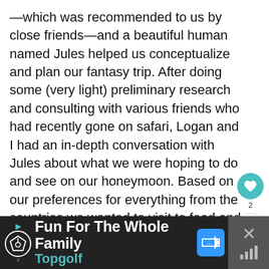—which was recommended to us by close friends—and a beautiful human named Jules helped us conceptualize and plan our fantasy trip. After doing some (very light) preliminary research and consulting with various friends who had recently gone on safari, Logan and I had an in-depth conversation with Jules about what we were hoping to do and see on our honeymoon. Based on our preferences for everything from the countries we wanted to visit to food and lodging, she put together a killer draft of an itinerary for us. After a few more calls and emails, we finalized the itinerary, and Jules went about locking in our epic adventure.
[Figure (infographic): Social interaction UI overlay: heart/like button (teal circle with heart icon) with count '2', and a share button below it. A 'WHAT'S NEXT' panel showing 'Healthy Travel Snack Pack...' with food imagery.]
[Figure (infographic): Advertisement banner for Topgolf: dark background, Topgolf logo (golf ball in pentagon), text 'Fun For The Whole Family' in white, 'Topgolf' in teal, blue arrow/direction sign icon, and a close button with X and signal bars.]